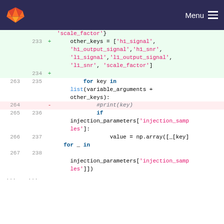GitLab Menu
Code diff showing lines 233-238 with additions and one deletion in Python code related to injection parameters and signal keys.